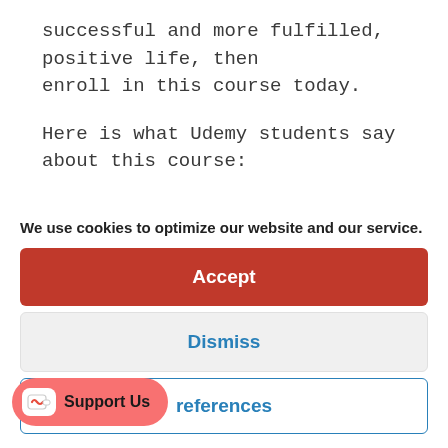successful and more fulfilled, positive life, then enroll in this course today.
Here is what Udemy students say about this course:
“I loved this course because everything is discussed in a
We use cookies to optimize our website and our service.
Accept
Dismiss
references
Support Us